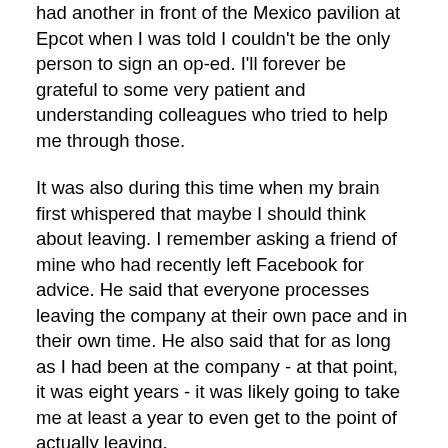had another in front of the Mexico pavilion at Epcot when I was told I couldn't be the only person to sign an op-ed. I'll forever be grateful to some very patient and understanding colleagues who tried to help me through those.
It was also during this time when my brain first whispered that maybe I should think about leaving. I remember asking a friend of mine who had recently left Facebook for advice. He said that everyone processes leaving the company at their own pace and in their own time. He also said that for as long as I had been at the company - at that point, it was eight years - it was likely going to take me at least a year to even get to the point of actually leaving.
It took me a bit longer. I couldn't come to grips with